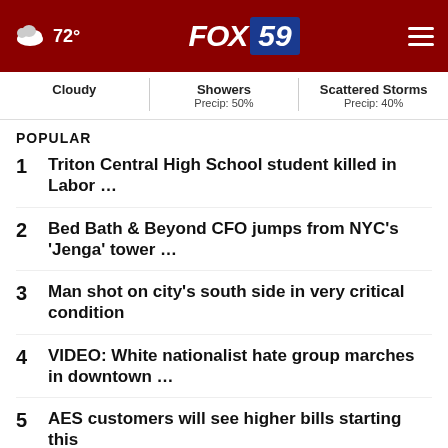72° FOX 59
Cloudy | Showers Precip: 50% | Scattered Storms Precip: 40%
POPULAR
1 Triton Central High School student killed in Labor …
2 Bed Bath & Beyond CFO jumps from NYC's 'Jenga' tower …
3 Man shot on city's south side in very critical condition
4 VIDEO: White nationalist hate group marches in downtown …
5 AES customers will see higher bills starting this